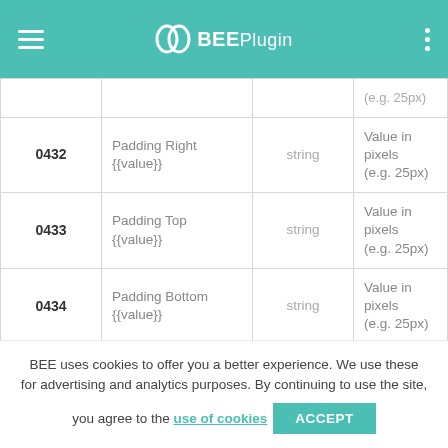BEEPlugin
| ID | Name | Type | Notes |
| --- | --- | --- | --- |
| 0432 | Padding Right {{value}} | string | Value in pixels (e.g. 25px) |
| 0433 | Padding Top {{value}} | string | Value in pixels (e.g. 25px) |
| 0434 | Padding Bottom {{value}} | string | Value in pixels (e.g. 25px) |
| 0440 | Hide on mobile | boolean | true | false |
| 0490 | Line | string | Value in pixels | Border Style | |
BEE uses cookies to offer you a better experience. We use these for advertising and analytics purposes. By continuing to use the site, you agree to the use of cookies  ACCEPT